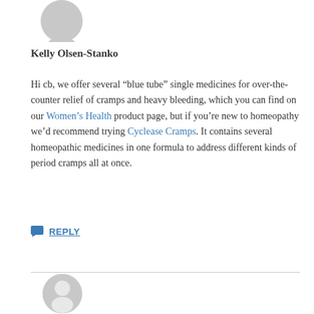[Figure (illustration): Partial gray avatar/user icon, top portion visible at top of page]
Kelly Olsen-Stanko
Hi cb, we offer several “blue tube” single medicines for over-the-counter relief of cramps and heavy bleeding, which you can find on our Women’s Health product page, but if you’re new to homeopathy we’d recommend trying Cyclease Cramps. It contains several homeopathic medicines in one formula to address different kinds of period cramps all at once.
REPLY
[Figure (illustration): Gray avatar/user icon, lower portion of page, second comment user image]